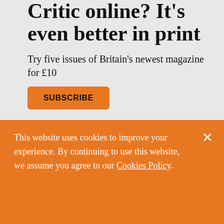Critic online? It's even better in print
Try five issues of Britain's newest magazine for £10
SUBSCRIBE
This website uses cookies to improve your experience. By continuing to use this website, we assume you agree to our Cookies Policy.